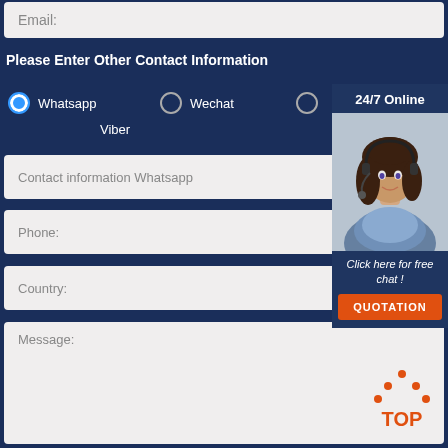Email:
Please Enter Other Contact Information
Whatsapp
Wechat
Viber
Contact information Whatsapp
Phone:
Country:
Message:
[Figure (photo): Customer service agent woman wearing headset, smiling, with '24/7 Online' header, 'Click here for free chat!' text, and orange QUOTATION button]
[Figure (logo): Orange TOP button logo with dotted triangle above text]